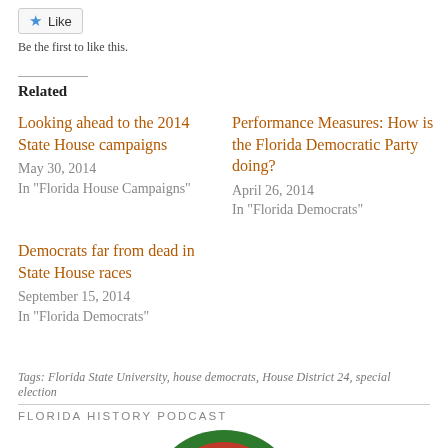[Figure (other): Like button with blue star icon]
Be the first to like this.
Related
Looking ahead to the 2014 State House campaigns
May 30, 2014
In "Florida House Campaigns"
Performance Measures: How is the Florida Democratic Party doing?
April 26, 2014
In "Florida Democrats"
Democrats far from dead in State House races
September 15, 2014
In "Florida Democrats"
Tags: Florida State University, house democrats, House District 24, special election
FLORIDA HISTORY PODCAST
[Figure (illustration): Partial circular logo or illustration in green and red at bottom of page]